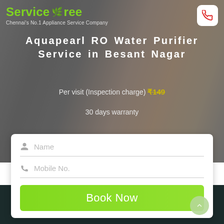[Figure (screenshot): ServiceTree logo with green tree icon and tagline 'Chennai's No.1 Appliance Service Company' on hero background]
Aquapearl RO Water Purifier Service in Besant Nagar
Per visit (Inspection charge) ₹149
30 days warranty
Name
Mobile No.
Book Now
Give missed call to book
08144 948 948